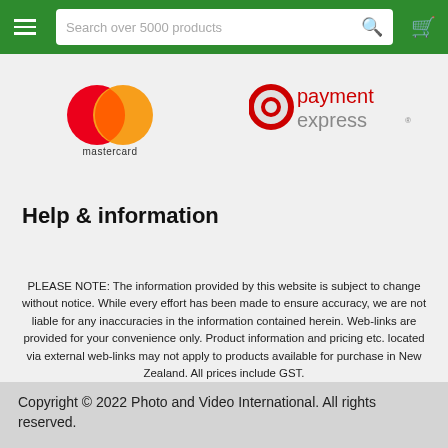Search over 5000 products
[Figure (logo): Mastercard logo - two overlapping circles red and orange with 'mastercard' text below]
[Figure (logo): Payment Express logo - red circle icon with 'payment express' text]
Help & information
PLEASE NOTE: The information provided by this website is subject to change without notice. While every effort has been made to ensure accuracy, we are not liable for any inaccuracies in the information contained herein. Web-links are provided for your convenience only. Product information and pricing etc. located via external web-links may not apply to products available for purchase in New Zealand. All prices include GST.
Copyright © 2022 Photo and Video International. All rights reserved.